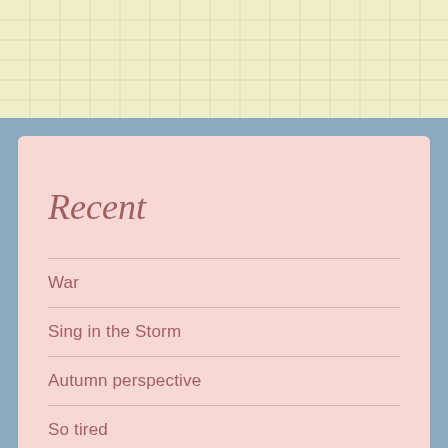[Figure (other): Yellow grid paper texture at the top of the page]
Recent
War
Sing in the Storm
Autumn perspective
So tired
Epiphany
Requiem for a mosquito
My lips are not sealed
Exuberant